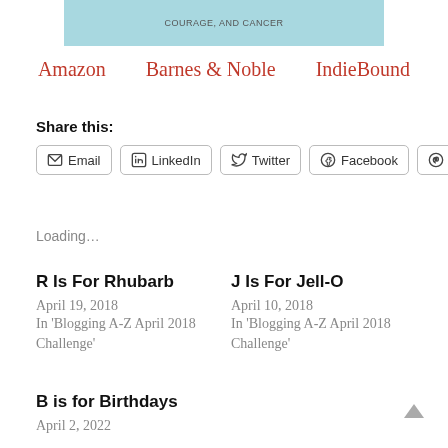[Figure (illustration): Partial book cover image with light blue background and text 'COURAGE, and CANCER', with a cartoon figure and sunflowers visible]
Amazon   Barnes & Noble   IndieBound
Share this:
Email  LinkedIn  Twitter  Facebook  Pinterest
Loading…
R Is For Rhubarb
April 19, 2018
In 'Blogging A-Z April 2018 Challenge'
J Is For Jell-O
April 10, 2018
In 'Blogging A-Z April 2018 Challenge'
B is for Birthdays
April 2, 2022